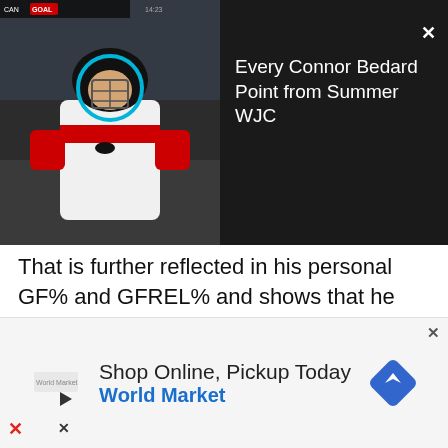[Figure (screenshot): Video thumbnail showing a hockey player in a white and red jersey with a face guard, with a teal/blue circle highlighting the player's face. Scoreboard overlay visible at top showing GOAL. Video title 'Every Connor Bedard Point from Summer WJC' shown to the right on dark background. A close (X) button is in the top right corner.]
That is further reflected in his personal GF% and GFREL% and shows that he pushed the puck in the right direction and made things happen.
That difference shows in his 5v5P60 – many speak to his potential as a high end offensive player and he does have some aspects to his game that make you think that. But he rates below
[Figure (screenshot): Advertisement banner: Shop Online, Pickup Today - World Market, with a blue navigation/directions diamond icon on the right and a logo on the left. Close (X) button visible. Play and X icons visible at bottom left.]